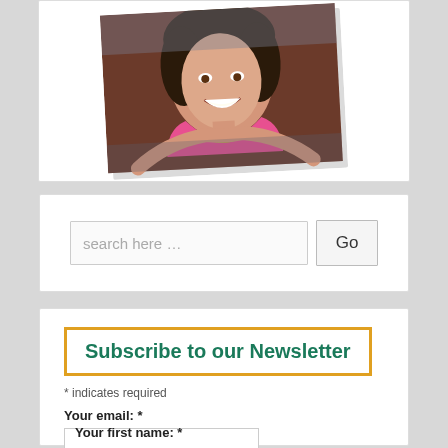[Figure (photo): A smiling woman in a pink top, photo displayed slightly tilted/rotated on a white card background]
search here …
Go
Subscribe to our Newsletter
* indicates required
Your email: *
Your first name: *